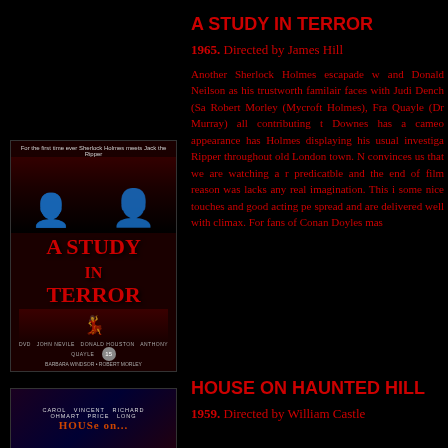[Figure (photo): DVD cover of 'A Study in Terror' showing two men in period costume and a woman, with red title text and DVD logo]
A STUDY IN TERROR
1965. Directed by James Hill
Another Sherlock Holmes escapade w... and Donald Neilson as his trustworth... familair faces with Judi Dench (Sa... Robert Morley (Mycroft Holmes), Fra... Quayle (Dr Murray) all contributing t... Downes has a cameo appearance has... Holmes displaying his usual investiga... Ripper throughout old London town. N... convinces us that we are watching a r... predicatble and the end of film reason... was lacks any real imagination. This i... some nice touches and good acting pe... spread and are delivered well with ... climax. For fans of Conan Doyles mas...
[Figure (photo): Bottom of DVD cover for 'House on Haunted Hill' showing partial title text]
HOUSE ON HAUNTED HILL
1959. Directed by William Castle